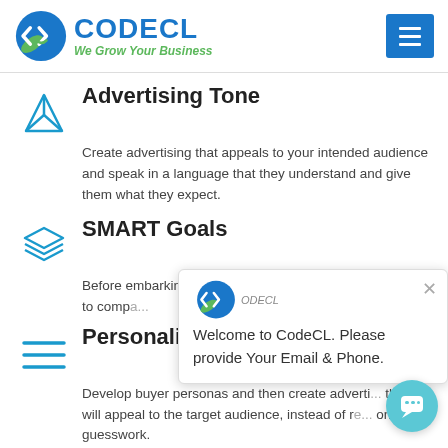CODECL — We Grow Your Business
Advertising Tone
Create advertising that appeals to your intended audience and speak in a language that they understand and give them what they expect.
SMART Goals
Before embarking on... and define SMART g... something to compa...
Personalized Content
Develop buyer personas and then create adverti... that will appeal to the target audience, instead of re... on guesswork.
[Figure (screenshot): Chat popup overlay showing CodeCL logo and message: Welcome to CodeCL. Please provide Your Email & Phone.]